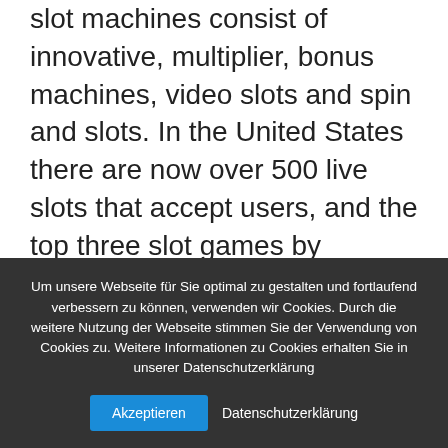slot machines consist of innovative, multiplier, bonus machines, video slots and spin and slots. In the United States there are now over 500 live slots that accept users, and the top three slot games by amount of people are slot, blackjack and roulette. If you wish to play online slots, then find free spins and win cash, visit one of the recommended online gambling sites under. Before you start playing in these online casinos, then you must read the regulations and rules properly.
Um unsere Webseite für Sie optimal zu gestalten und fortlaufend verbessern zu können, verwenden wir Cookies. Durch die weitere Nutzung der Webseite stimmen Sie der Verwendung von Cookies zu. Weitere Informationen zu Cookies erhalten Sie in unserer Datenschutzerklärung
Akzeptieren
Datenschutzerklärung